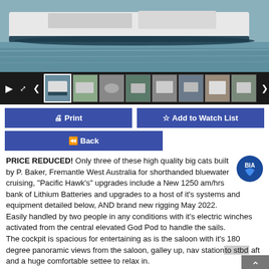[Figure (photo): Photograph of a large white catamaran boat moored at water, viewed from the front/side, with calm water in background]
[Figure (screenshot): Thumbnail strip with play button, expand icon, left/right navigation arrows, and 8 small thumbnail images of the boat]
[Figure (screenshot): Blue Print button and blue Add to Watch List button side by side]
[Figure (screenshot): Blue Back button with double left arrow icon]
PRICE REDUCED! Only three of these high quality big cats built by P. Baker, Fremantle West Australia for shorthanded bluewater cruising, "Pacific Hawk's" upgrades include a New 1250 am/hrs bank of Lithium Batteries and upgrades to a host of it's systems and equipment detailed below, AND brand new rigging May 2022.
Easily handled by two people in any conditions with it's electric winches activated from the central elevated God Pod to handle the sails.
The cockpit is spacious for entertaining as is the saloon with it's 180 degree panoramic views from the saloon, galley up, nav station to stbd aft and a huge comfortable settee to relax in.
There are two east west staterooms forward with an ensuite in the std